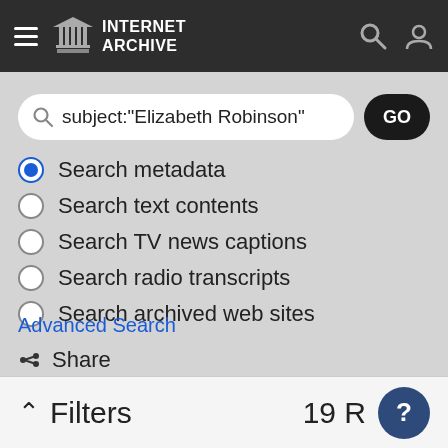Internet Archive
subject:"Elizabeth Robinson"
Search metadata (selected)
Search text contents
Search TV news captions
Search radio transcripts
Search archived web sites
Advanced Search
Share
Favorite
Filters  19 R  ?